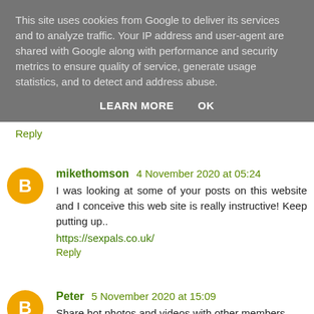This site uses cookies from Google to deliver its services and to analyze traffic. Your IP address and user-agent are shared with Google along with performance and security metrics to ensure quality of service, generate usage statistics, and to detect and address abuse.
LEARN MORE   OK
Reply
mikethomson 4 November 2020 at 05:24
I was looking at some of your posts on this website and I conceive this web site is really instructive! Keep putting up..
https://sexpals.co.uk/
Reply
Peter 5 November 2020 at 15:09
Share hot photos and videos with other members
couple looking for unicorn